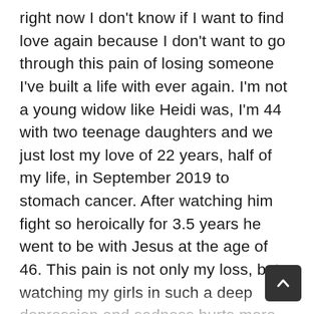right now I don't know if I want to find love again because I don't want to go through this pain of losing someone I've built a life with ever again. I'm not a young widow like Heidi was, I'm 44 with two teenage daughters and we just lost my love of 22 years, half of my life, in September 2019 to stomach cancer. After watching him fight so heroically for 3.5 years he went to be with Jesus at the age of 46. This pain is not only my loss, but watching my girls in such a deep depression and sadness hurts more than my loss alone. The phrases I hear constantly are, "who will walk me down the isle?" and "my children will